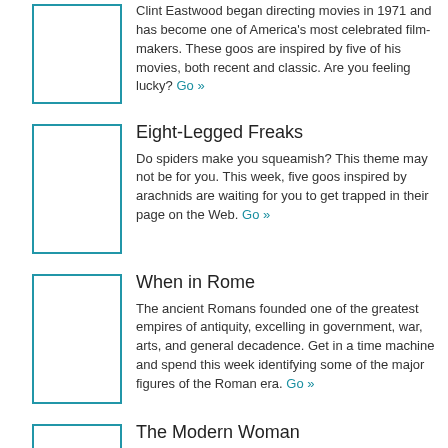Clint Eastwood began directing movies in 1971 and has become one of America's most celebrated film-makers. These goos are inspired by five of his movies, both recent and classic. Are you feeling lucky? Go »
[Figure (other): Placeholder thumbnail image box with teal/cyan border]
Eight-Legged Freaks
Do spiders make you squeamish? This theme may not be for you. This week, five goos inspired by arachnids are waiting for you to get trapped in their page on the Web. Go »
[Figure (other): Placeholder thumbnail image box with teal/cyan border]
When in Rome
The ancient Romans founded one of the greatest empires of antiquity, excelling in government, war, arts, and general decadence. Get in a time machine and spend this week identifying some of the major figures of the Roman era. Go »
[Figure (other): Placeholder thumbnail image box with teal/cyan border]
The Modern Woman
[Figure (other): Placeholder thumbnail image box with teal/cyan border]